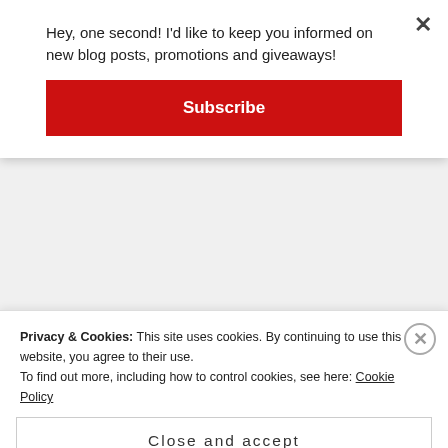Hey, one second! I'd like to keep you informed on new blog posts, promotions and giveaways!
Subscribe
[Figure (illustration): Liebster Award badge — pink scalloped circle badge with text 'LIEBSTER award discover new blogs' and floral ribbon decoration]
Privacy & Cookies: This site uses cookies. By continuing to use this website, you agree to their use.
To find out more, including how to control cookies, see here: Cookie Policy
Close and accept